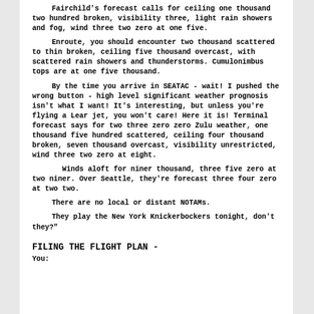Fairchild's forecast calls for ceiling one thousand two hundred broken, visibility three, light rain showers and fog, wind three two zero at one five.
Enroute, you should encounter two thousand scattered to thin broken, ceiling five thousand overcast, with scattered rain showers and thunderstorms. Cumulonimbus tops are at one five thousand.
By the time you arrive in SEATAC - wait! I pushed the wrong button - high level significant weather prognosis isn't what I want! It's interesting, but unless you're flying a Lear jet, you won't care! Here it is! Terminal forecast says for two three zero zero Zulu weather, one thousand five hundred scattered, ceiling four thousand broken, seven thousand overcast, visibility unrestricted, wind three two zero at eight.
Winds aloft for niner thousand, three five zero at two niner. Over Seattle, they're forecast three four zero at two two.
There are no local or distant NOTAMs.
They play the New York Knickerbockers tonight, don't they?"
FILING THE FLIGHT PLAN -
You: